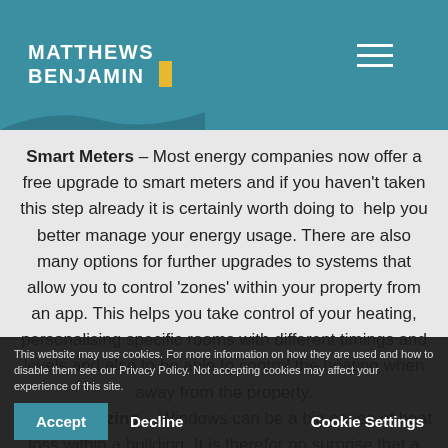Matthews Benjamin
Smart Meters – Most energy companies now offer a free upgrade to smart meters and if you haven't taken this step already it is certainly worth doing to help you better manage your energy usage. There are also many options for further upgrades to systems that allow you to control 'zones' within your property from an app. This helps you take control of your heating, personalising specific rooms with different timings and levels and also to be able to control the heating when away from the property.
This website may use cookies. For more information on how they are used and how to disable them see our Privacy Policy. Not accepting cookies may affect your experience of this site.
Double Glazing – Windows can be a big cause of heat loss within a building. It is therefor no surprise that a great way to keep that heat inside is to upgrade your windows to double or even triple glazing. There are other benefits too which include reduced external noise and better protection from the
Accept  Decline  Cookie Settings